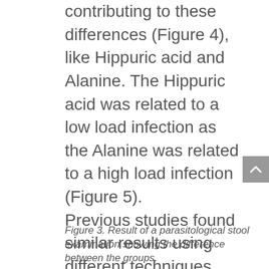between groups with some metabolites contributing to these differences (Figure 4), like Hippuric acid and Alanine. The Hippuric acid was related to a low load infection as the Alanine was related to a high load infection (Figure 5). Previous studies found similar results using different techniques (Wang et al., 2004, García-Pérez et al., 2008 and Li et al., 2011 (12–14)) showing the relevance of these metabolites to possible be used as biomarkers for schistosomiases diagnosis.
Figure 3. Result of a parasitological stool examination showing the difference between the groups.